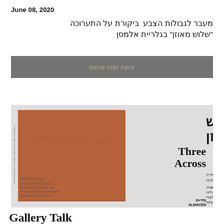June 08, 2020
מעבר לגבולות הצבע  ביקורת על התערוכה "שלוש מאוזן" בגלריית אלמסן
more info here
[Figure (illustration): Exhibition poster for 'Three Across / שלוש מאוזן' at Almacen Gallery, featuring a terracotta/orange textured rectangular artwork on a light gray background, with Hebrew and English text on the right side listing: שלוש מאוזן / Three Across, gallery talk info, participants, and gallery hours.]
Gallery Talk